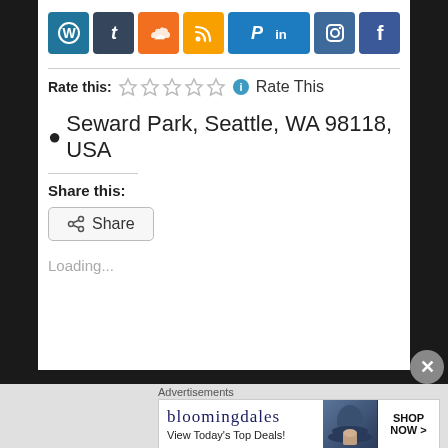[Figure (infographic): Row of social media icon buttons: WordPress (blue), Tumblr (dark blue), SoundCloud (orange), RSS (gold/orange), Pinboard (blue), LinkedIn (blue), Instagram (blue-grey), Facebook (blue)]
Rate this:  ☆☆☆☆☆ ℹ Rate This
◉ Seward Park, Seattle, WA 98118, USA
Share this:
< Share
Loading...
Advertisements
[Figure (infographic): Bloomingdale's advertisement banner showing 'bloomingdales', 'View Today's Top Deals!', a woman with a hat, and a 'SHOP NOW >' button]